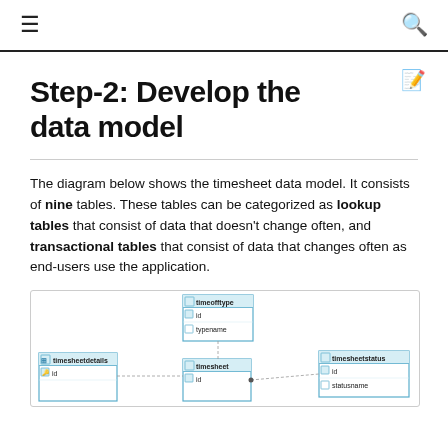≡   🔍
Step-2: Develop the data model
The diagram below shows the timesheet data model. It consists of nine tables. These tables can be categorized as lookup tables that consist of data that doesn't change often, and transactional tables that consist of data that changes often as end-users use the application.
[Figure (engineering-diagram): Entity-relationship diagram showing timesheet database tables including timesheetdetails, timeofftype, timesheet, and timesheetstatus with their fields (id, typename, statusname) and relationships shown by dashed connector lines.]